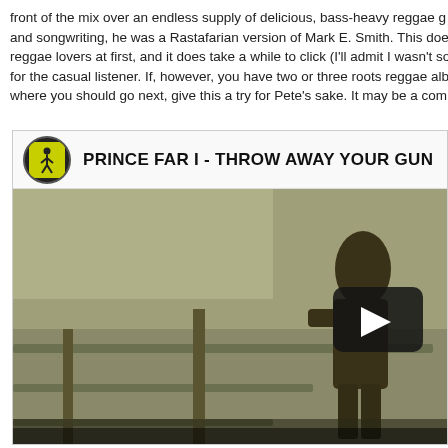front of the mix over an endless supply of delicious, bass-heavy reggae g... and songwriting, he was a Rastafarian version of Mark E. Smith. This doe... reggae lovers at first, and it does take a while to click (I'll admit I wasn't so... for the casual listener. If, however, you have two or three roots reggae alb... where you should go next, give this a try for Pete's sake. It may be a com...
[Figure (screenshot): Embedded YouTube video player showing 'PRINCE FAR I - THROW AWAY YOUR GUN'. The thumbnail shows a sepia-toned silhouette of a person standing near a fence/railing. A circular album art thumbnail (yellow-green background with a stick figure) is shown top-left with the video title in bold text. A play button is visible in the center-right of the video frame.]